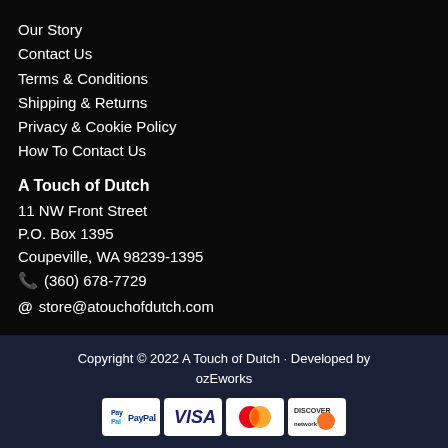Our Story
Contact Us
Terms & Conditions
Shipping & Returns
Privacy & Cookie Policy
How To Contact Us
A Touch of Dutch
11 NW Front Street
P.O. Box 1395
Coupeville, WA 98239-1395
☎ (360) 678-7729
@ store@atouchofdutch.com
Copyright © 2022 A Touch of Dutch · Developed by ozEworks
[Figure (logo): Payment method logos: PayPal, Visa, Mastercard, Discover]